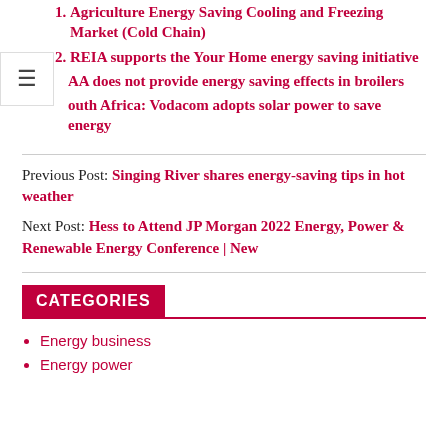Agriculture Energy Saving Cooling and Freezing Market (Cold Chain)
REIA supports the Your Home energy saving initiative
AA does not provide energy saving effects in broilers
outh Africa: Vodacom adopts solar power to save energy
Previous Post: Singing River shares energy-saving tips in hot weather
Next Post: Hess to Attend JP Morgan 2022 Energy, Power & Renewable Energy Conference | New
CATEGORIES
Energy business
Energy power